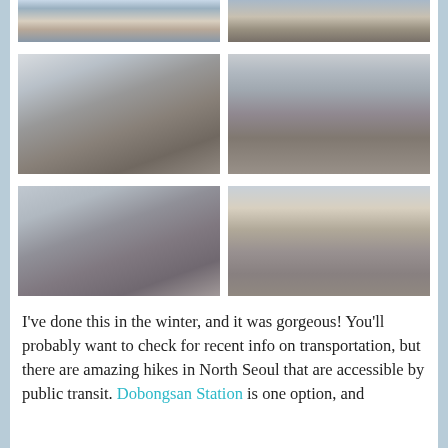[Figure (photo): Top-left partial photo: snowy outdoor scene with buildings]
[Figure (photo): Top-right partial photo: outdoor mountain/hillside scene]
[Figure (photo): Middle-left photo: hikers on a foggy mountain trail with rope fences]
[Figure (photo): Middle-right photo: rocky mountain landscape with people resting, misty background]
[Figure (photo): Bottom-left photo: rocky mountain peaks in winter, person posing with arms out]
[Figure (photo): Bottom-right photo: street market with green awnings, utility poles, people walking]
I've done this in the winter, and it was gorgeous! You'll probably want to check for recent info on transportation, but there are amazing hikes in North Seoul that are accessible by public transit. Dobongsan Station is one option, and